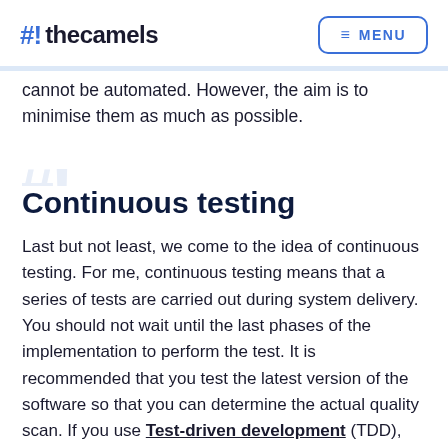#! thecamels  ≡ MENU
cannot be automated. However, the aim is to minimise them as much as possible.
Continuous testing
Last but not least, we come to the idea of continuous testing. For me, continuous testing means that a series of tests are carried out during system delivery. You should not wait until the last phases of the implementation to perform the test. It is recommended that you test the latest version of the software so that you can determine the actual quality scan. If you use Test-driven development (TDD), you can see the status of progress in